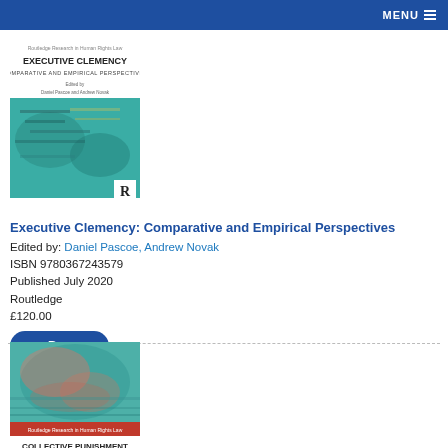MENU
[Figure (illustration): Book cover: Executive Clemency: Comparative and Empirical Perspectives, teal/green abstract cover with Routledge logo]
Executive Clemency: Comparative and Empirical Perspectives
Edited by: Daniel Pascoe, Andrew Novak
ISBN 9780367243579
Published July 2020
Routledge
£120.00
Buy
[Figure (illustration): Book cover: Collective Punishment and Human Rights Law: Addressing Gaps in International Law, teal/multicolor abstract cover]